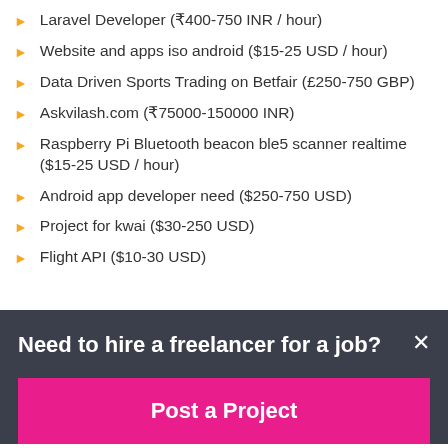Laravel Developer (₹400-750 INR / hour)
Website and apps iso android ($15-25 USD / hour)
Data Driven Sports Trading on Betfair (£250-750 GBP)
Askvilash.com (₹75000-150000 INR)
Raspberry Pi Bluetooth beacon ble5 scanner realtime ($15-25 USD / hour)
Android app developer need ($250-750 USD)
Project for kwai ($30-250 USD)
Flight API ($10-30 USD)
Need to hire a freelancer for a job?
Post a Project